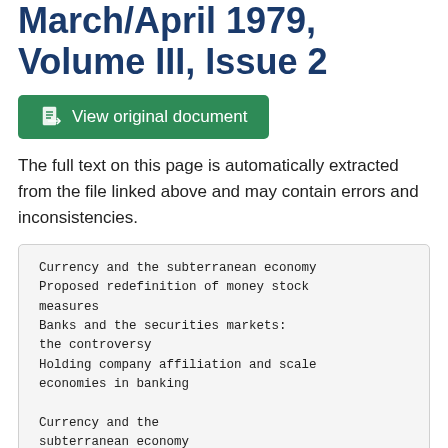March/April 1979, Volume III, Issue 2
[Figure (other): Green button labeled 'View original document' with document icon]
The full text on this page is automatically extracted from the file linked above and may contain errors and inconsistencies.
Currency and the subterranean economy
Proposed redefinition of money stock measures
Banks and the securities markets: the controversy
Holding company affiliation and scale economies in banking

Currency and the subterranean economy
CONTENTS